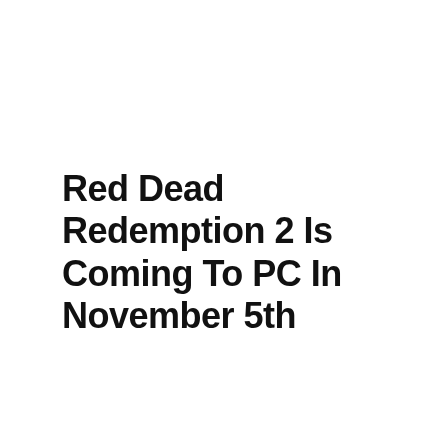Red Dead Redemption 2 Is Coming To PC In November 5th